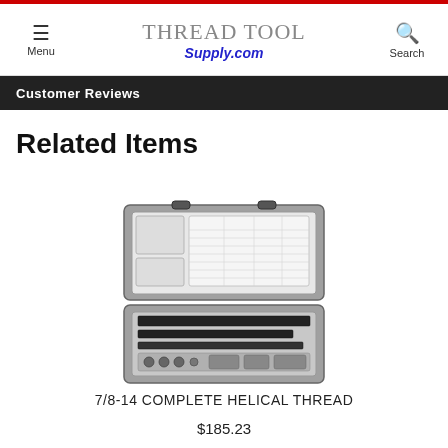Thread Tool Supply.com — Menu | Search
Customer Reviews
Related Items
[Figure (photo): A transparent plastic case containing a 7/8-14 complete helical thread repair kit with taps, inserts, and a reference chart inside the lid.]
7/8-14 COMPLETE HELICAL THREAD
$185.23